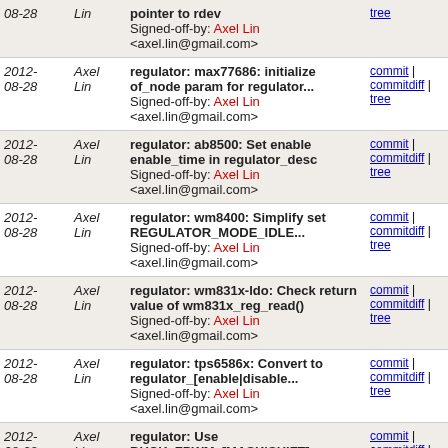| Date | Author | Message | Links |
| --- | --- | --- | --- |
| 2012-08-28 | Axel Lin | pointer to rdev
Signed-off-by: Axel Lin <axel.lin@gmail.com> | tree |
| 2012-08-28 | Axel Lin | regulator: max77686: initialize of_node param for regulator...
Signed-off-by: Axel Lin <axel.lin@gmail.com> | commit | commitdiff | tree |
| 2012-08-28 | Axel Lin | regulator: ab8500: Set enable enable_time in regulator_desc
Signed-off-by: Axel Lin <axel.lin@gmail.com> | commit | commitdiff | tree |
| 2012-08-28 | Axel Lin | regulator: wm8400: Simplify set REGULATOR_MODE_IDLE...
Signed-off-by: Axel Lin <axel.lin@gmail.com> | commit | commitdiff | tree |
| 2012-08-28 | Axel Lin | regulator: wm831x-ldo: Check return value of wm831x_reg_read()
Signed-off-by: Axel Lin <axel.lin@gmail.com> | commit | commitdiff | tree |
| 2012-08-28 | Axel Lin | regulator: tps6586x: Convert to regulator_[enable|disable...
Signed-off-by: Axel Lin <axel.lin@gmail.com> | commit | commitdiff | tree |
| 2012-08-28 | Axel Lin | regulator: Use BUCK_FPWM_[MASK|SHIFT] macros to replace...
Signed-off-by: Axel Lin <axel.lin@gmail.com> | commit | commitdiff | tree |